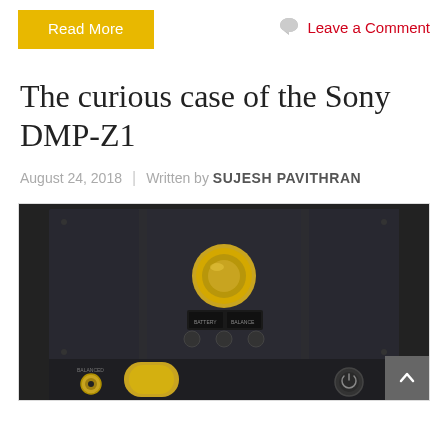Read More
Leave a Comment
The curious case of the Sony DMP-Z1
August 24, 2018 | Written by SUJESH PAVITHRAN
[Figure (photo): Top-down view of the Sony DMP-Z1 portable audio player showing its dark metal chassis with gold-colored volume knob, balanced headphone output jack, control buttons, and power button.]